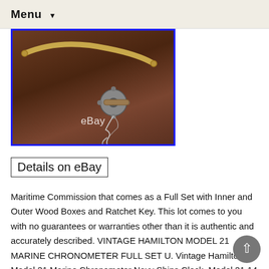Menu
[Figure (photo): Product photo showing a curved brass bar and a ratchet key with string on a dark wood background, with eBay watermark]
Details on eBay
Maritime Commission that comes as a Full Set with Inner and Outer Wood Boxes and Ratchet Key. This lot comes to you with no guarantees or warranties other than it is authentic and accurately described. VINTAGE HAMILTON MODEL 21 MARINE CHRONOMETER FULL SET U. Vintage Hamilton Model 21 Marine Chronometer Navy Ships Clock. Model 21 14 Jewel Fusee Chain Driven Movement. Includes Inner and Outer Wood Boxes with Original Leather Strap. Includes Brass Ratchet Key and an Extra Key to Set the